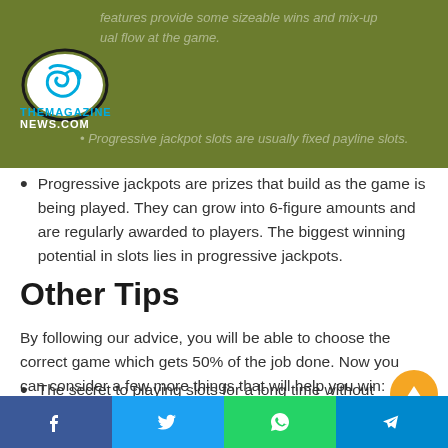[Figure (logo): TheMagazineNews.com logo with teal oval and bird graphic]
features provide some sizeable wins and mix up the usual flow of the game.
Progressive jackpot slots are usually fixed payline slots. Progressive jackpots are prizes that build as the game is being played. They can grow into 6-figure amounts and are regularly awarded to players. The biggest winning potential in slots lies in progressive jackpots.
Other Tips
By following our advice, you will be able to choose the correct game which gets 50% of the job done. Now you can consider a few more things that will help you win:
The secret to playing slots for a long time without incurring major losses is knowing when to stop. Set
Facebook  Twitter  WhatsApp  Telegram